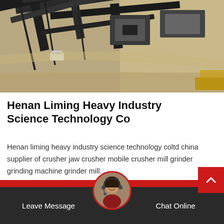[Figure (photo): Aerial view of a mining/crushing plant facility with conveyor belts, machinery, equipment, sandy terrain, and a white vehicle visible.]
Henan Liming Heavy Industry Science Technology Co
Henan liming heavy industry science technology coltd china supplier of crusher jaw crusher mobile crusher mill grinder grinding machine grinder mill.
[Figure (photo): Customer service representative avatar with headset, circular portrait image above the footer bar.]
Leave Message   Chat Online